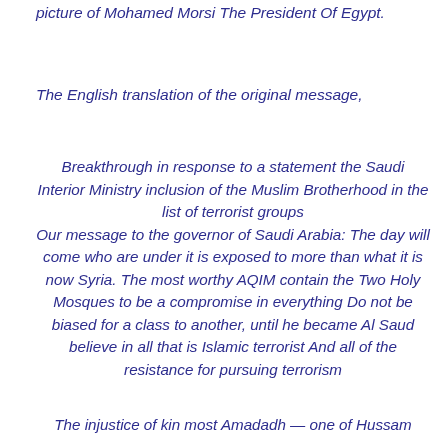picture of Mohamed Morsi The President Of Egypt.
The English translation of the original message,
Breakthrough in response to a statement the Saudi Interior Ministry inclusion of the Muslim Brotherhood in the list of terrorist groups Our message to the governor of Saudi Arabia:  The day will come who are under it is exposed to more than what it is now Syria.  The most worthy AQIM contain the Two Holy Mosques to be a compromise in everything  Do not be biased for a class to another, until he became Al Saud believe in all that is Islamic terrorist  And all of the resistance for pursuing terrorism
The injustice of kin most Amadadh — one of Hussam